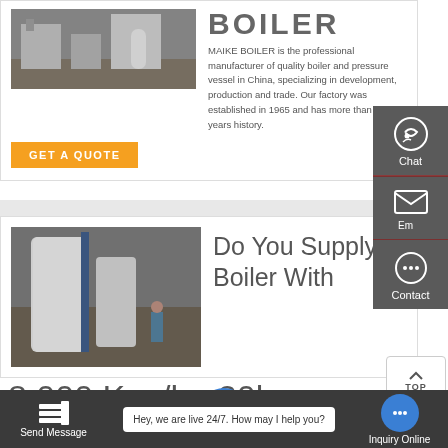[Figure (photo): Industrial boiler factory photo showing equipment and machinery]
BOILER
MAIKE BOILER is the professional manufacturer of quality boiler and pressure vessel in China, specializing in development, production and trade. Our factory was established in 1965 and has more than 50 years history.
GET A QUOTE
[Figure (photo): Industrial boiler photo showing large white cylindrical boilers in factory setting]
Do You Supply Boiler With 8,000 Kgs/hr, 20bar
Chat
Email
Contact
Send Message
Hey, we are live 24/7. How may I help you?
Inquiry Online